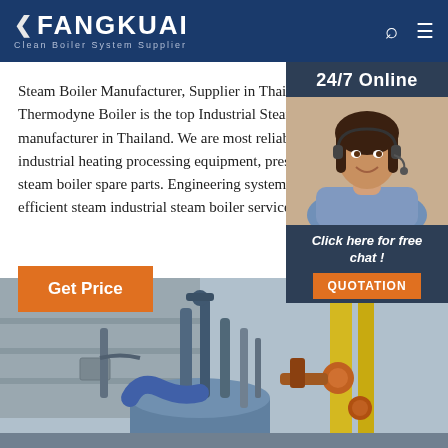FANGKUAI - Clean Boiler System Supplier
Steam Boiler Manufacturer, Supplier in Thailand
Thermodyne Boiler is the top Industrial Steam boiler manufacturer in Thailand. We are most reliable manufacturing industrial heating processing equipment, pressure vessels and steam boiler spare parts. Engineering systems is dedicated for efficient steam industrial steam boiler services to our clients in
[Figure (photo): Customer service representative with headset, smiling. 24/7 Online chat widget with Click here for free chat and QUOTATION button.]
[Figure (photo): Industrial boiler equipment photograph showing pipes, valves, and industrial machinery components in a facility.]